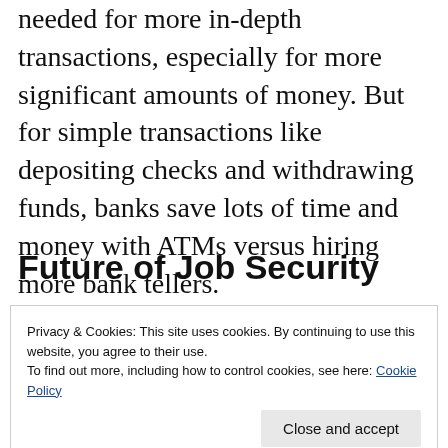needed for more in-depth transactions, especially for more significant amounts of money. But for simple transactions like depositing checks and withdrawing funds, banks save lots of time and money with ATMs versus hiring more bank tellers.
Future of Job Security
Privacy & Cookies: This site uses cookies. By continuing to use this website, you agree to their use.
To find out more, including how to control cookies, see here: Cookie Policy
not every job has been impacted, some bits and some of f...